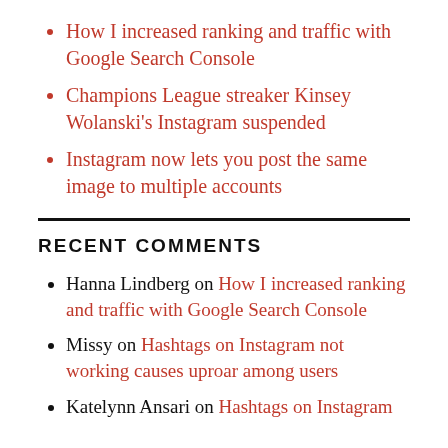How I increased ranking and traffic with Google Search Console
Champions League streaker Kinsey Wolanski's Instagram suspended
Instagram now lets you post the same image to multiple accounts
RECENT COMMENTS
Hanna Lindberg on How I increased ranking and traffic with Google Search Console
Missy on Hashtags on Instagram not working causes uproar among users
Katelynn Ansari on Hashtags on Instagram